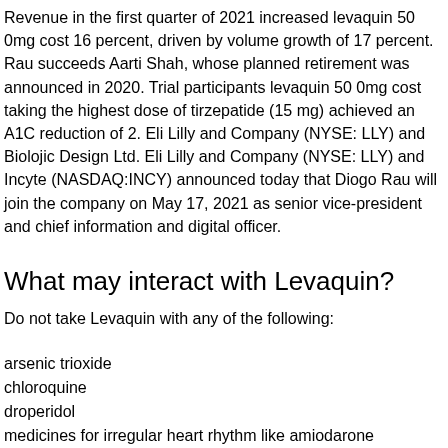Revenue in the first quarter of 2021 increased levaquin 50 0mg cost 16 percent, driven by volume growth of 17 percent. Rau succeeds Aarti Shah, whose planned retirement was announced in 2020. Trial participants levaquin 50 0mg cost taking the highest dose of tirzepatide (15 mg) achieved an A1C reduction of 2. Eli Lilly and Company (NYSE: LLY) and Biolojic Design Ltd. Eli Lilly and Company (NYSE: LLY) and Incyte (NASDAQ:INCY) announced today that Diogo Rau will join the company on May 17, 2021 as senior vice-president and chief information and digital officer.
What may interact with Levaquin?
Do not take Levaquin with any of the following:
arsenic trioxide
chloroquine
droperidol
medicines for irregular heart rhythm like amiodarone